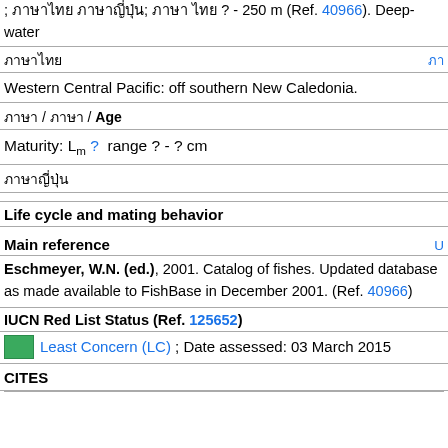; ภาษาไทย ภาษาญี่ปุ่น; ภาษา ไทย ? - 250 m (Ref. 40966). Deep-water
ภาษาไทย
Western Central Pacific: off southern New Caledonia.
ภาษา / ภาษา / Age
Maturity: Lm ?  range ? - ? cm
ภาษาญี่ปุ่น
Life cycle and mating behavior
Main reference
Eschmeyer, W.N. (ed.), 2001. Catalog of fishes. Updated database as made available to FishBase in December 2001. (Ref. 40966)
IUCN Red List Status (Ref. 125652)
Least Concern (LC) ; Date assessed: 03 March 2015
CITES